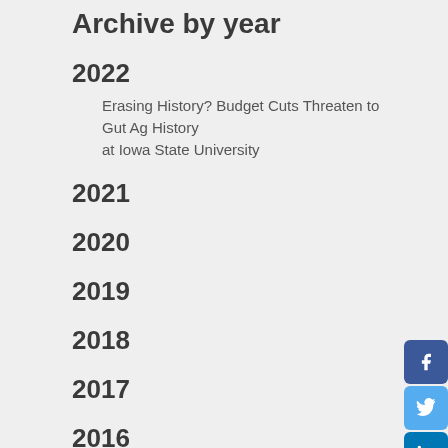Archive by year
2022
Erasing History? Budget Cuts Threaten to Gut Ag History at Iowa State University
2021
2020
2019
2018
2017
2016